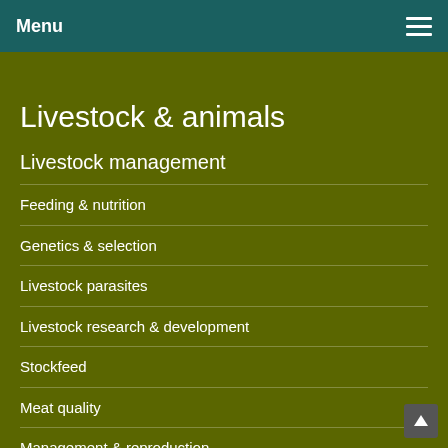Menu
Livestock & animals
Livestock management
Feeding & nutrition
Genetics & selection
Livestock parasites
Livestock research & development
Stockfeed
Meat quality
Management & reproduction
Livestock species
Beef cattle